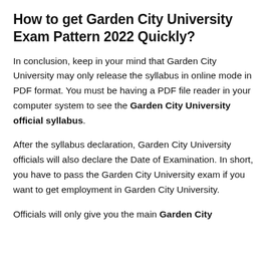How to get Garden City University Exam Pattern 2022 Quickly?
In conclusion, keep in your mind that Garden City University may only release the syllabus in online mode in PDF format. You must be having a PDF file reader in your computer system to see the Garden City University official syllabus.
After the syllabus declaration, Garden City University officials will also declare the Date of Examination. In short, you have to pass the Garden City University exam if you want to get employment in Garden City University.
Officials will only give you the main Garden City